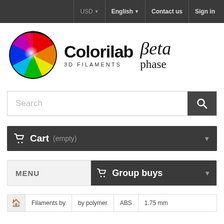USD ▾  English ▾  Contact us  Sign in
[Figure (logo): Colorilab 3D Filaments logo with colorful globe icon and Beta phase text]
Search
🛒 Cart (empty)
MENU   🛒 Group buys
🏠 Filaments by   by polymer   ABS   1.75 mm